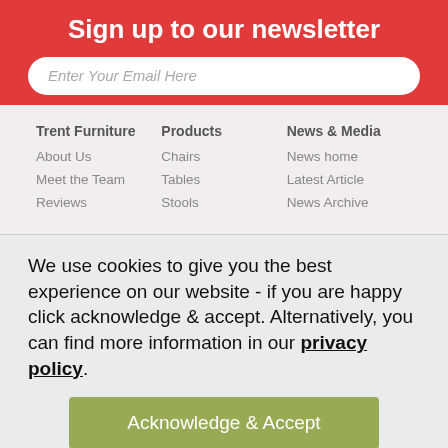Sign up to our newsletter
Enter Your Email Here
Trent Furniture
About Us
Meet the Team
Reviews
Products
Chairs
Tables
Stools
News & Media
News home
Latest Article
News Archive
We use cookies to give you the best experience on our website - if you are happy click acknowledge & accept. Alternatively, you can find more information in our privacy policy.
Acknowledge & Accept